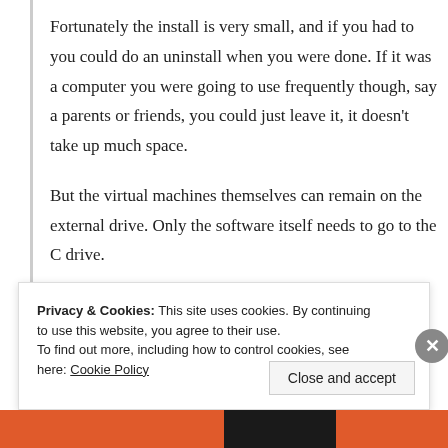Fortunately the install is very small, and if you had to you could do an uninstall when you were done. If it was a computer you were going to use frequently though, say a parents or friends, you could just leave it, it doesn't take up much space.

But the virtual machines themselves can remain on the external drive. Only the software itself needs to go to the C drive.
↳ Reply
Privacy & Cookies: This site uses cookies. By continuing to use this website, you agree to their use.
To find out more, including how to control cookies, see here: Cookie Policy